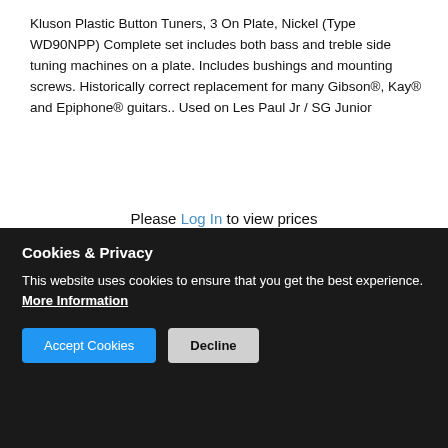Kluson Plastic Button Tuners, 3 On Plate, Nickel (Type WD90NPP) Complete set includes both bass and treble side tuning machines on a plate. Includes bushings and mounting screws. Historically correct replacement for many Gibson®, Kay® and Epiphone® guitars.. Used on Les Paul Jr / SG Junior
Please Log In to view prices
[Figure (photo): Partial view of a nickel guitar tuner plate (Kluson-style), showing metallic plate with holes and tuner posts, on a light grey background.]
Cookies & Privacy
This website uses cookies to ensure that you get the best experience.
More Information
Accept Cookies   Decline